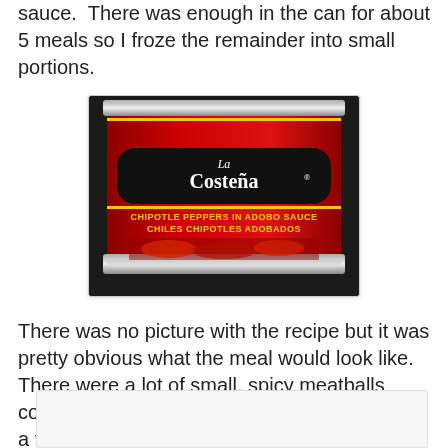sauce.  There was enough in the can for about 5 meals so I froze the remainder into small portions.
[Figure (photo): La Costeña chipotle peppers in adobo sauce can on a dark background. Red label with black banner displaying brand name, text reads CHIPOTLE PEPPERS IN ADOBO SAUCE / CHILES CHIPOTLES ADOBADOS.]
There was no picture with the recipe but it was pretty obvious what the meal would look like.   There were a lot of small, spicy meatballs covered with a sauce, topped with cheese and a few sprigs of parsley.
[Figure (photo): White/light gray empty image box — no image loaded.]